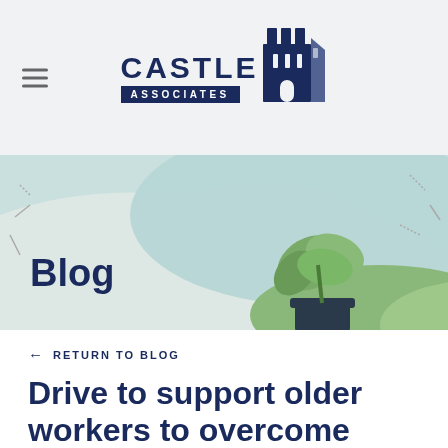[Figure (logo): Castle Associates logo with castle icon, dark navy text]
[Figure (illustration): Blog page banner with decorative plant and nature illustration in teal and green tones]
Blog
← RETURN TO BLOG
Drive to support older workers to overcome employment barriers
Published 28 July 2015